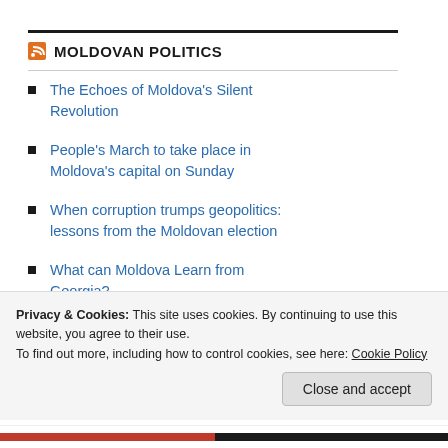MOLDOVAN POLITICS
The Echoes of Moldova's Silent Revolution
People's March to take place in Moldova's capital on Sunday
When corruption trumps geopolitics: lessons from the Moldovan election
What can Moldova Learn from Georgia?
State of Play Ahead of Moldova's Parliamentary Elections
Împreună vom construi o țară după chipul și înfățișarea noastră – o
Privacy & Cookies: This site uses cookies. By continuing to use this website, you agree to their use.
To find out more, including how to control cookies, see here: Cookie Policy
Close and accept